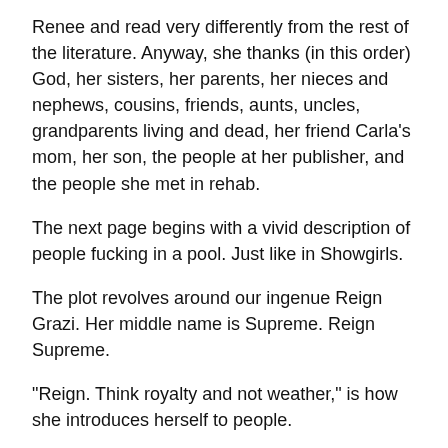Renee and read very differently from the rest of the literature. Anyway, she thanks (in this order) God, her sisters, her parents, her nieces and nephews, cousins, friends, aunts, uncles, grandparents living and dead, her friend Carla's mom, her son, the people at her publisher, and the people she met in rehab.
The next page begins with a vivid description of people fucking in a pool. Just like in Showgirls.
The plot revolves around our ingenue Reign Grazi. Her middle name is Supreme. Reign Supreme.
"Reign. Think royalty and not weather," is how she introduces herself to people.
Reign is clearly supposed to be Renee—a strong-willed Staten Island single mom with a father and an ex-husband in the mafia. The physical descriptions are based on a version of